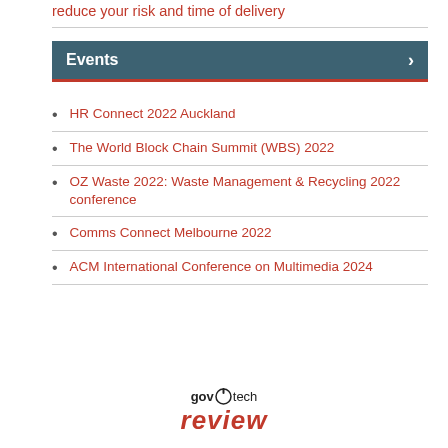reduce your risk and time of delivery
Events
HR Connect 2022 Auckland
The World Block Chain Summit (WBS) 2022
OZ Waste 2022: Waste Management & Recycling 2022 conference
Comms Connect Melbourne 2022
ACM International Conference on Multimedia 2024
[Figure (logo): GovTech Review logo with 'gov' and 'tech' in dark text and 'review' in red italic below]